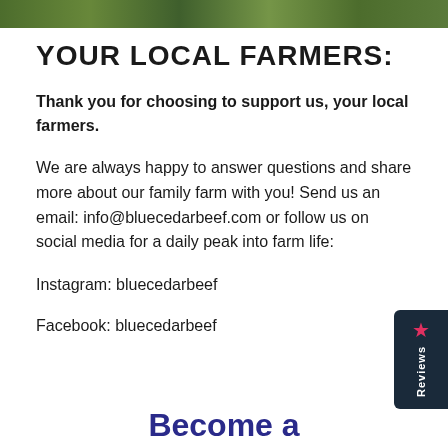[Figure (photo): Partial photo strip at the top of the page showing farm/nature scene]
YOUR LOCAL FARMERS:
Thank you for choosing to support us, your local farmers.
We are always happy to answer questions and share more about our family farm with you! Send us an email: info@bluecedarbeef.com or follow us on social media for a daily peak into farm life:
Instagram: bluecedarbeef
Facebook: bluecedarbeef
Become a